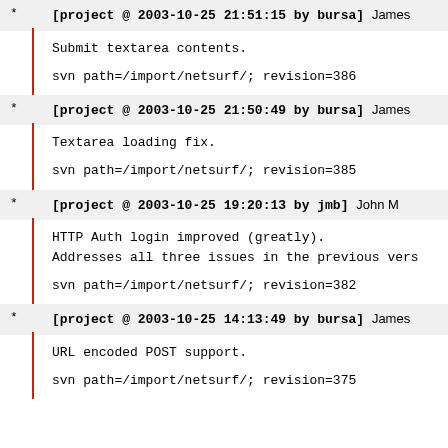[project @ 2003-10-25 21:51:15 by bursa] James
Submit textarea contents.
svn path=/import/netsurf/; revision=386
[project @ 2003-10-25 21:50:49 by bursa] James
Textarea loading fix.
svn path=/import/netsurf/; revision=385
[project @ 2003-10-25 19:20:13 by jmb] John M
HTTP Auth login improved (greatly).
Addresses all three issues in the previous vers
svn path=/import/netsurf/; revision=382
[project @ 2003-10-25 14:13:49 by bursa] James
URL encoded POST support.
svn path=/import/netsurf/; revision=375